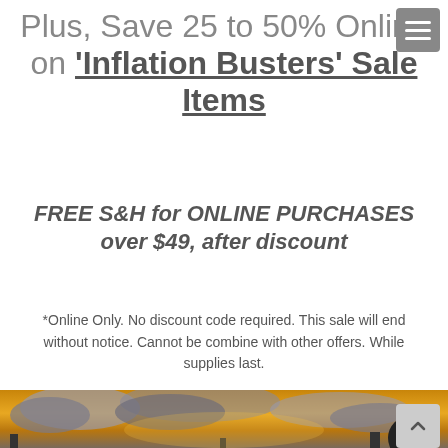Plus, Save 25 to 50% Online on 'Inflation Busters' Sale Items
FREE S&H for ONLINE PURCHASES over $49, after discount
*Online Only. No discount code required. This sale will end without notice. Cannot be combine with other offers. While supplies last.
[Figure (photo): Sunset sky with dramatic orange and yellow clouds, silhouettes of buildings/structures at the bottom]